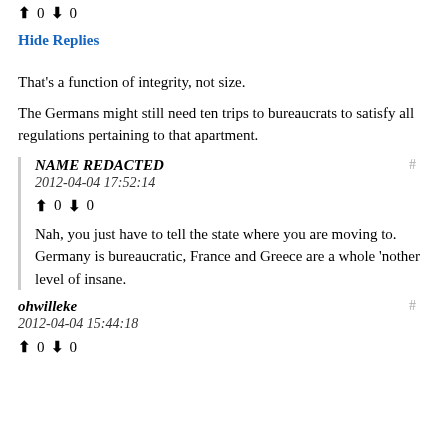↑ 0 ↓ 0
Hide Replies
That's a function of integrity, not size.
The Germans might still need ten trips to bureaucrats to satisfy all regulations pertaining to that apartment.
NAME REDACTED
2012-04-04 17:52:14
↑ 0 ↓ 0
Nah, you just have to tell the state where you are moving to. Germany is bureaucratic, France and Greece are a whole 'nother level of insane.
ohwilleke
2012-04-04 15:44:18
↑ 0 ↓ 0